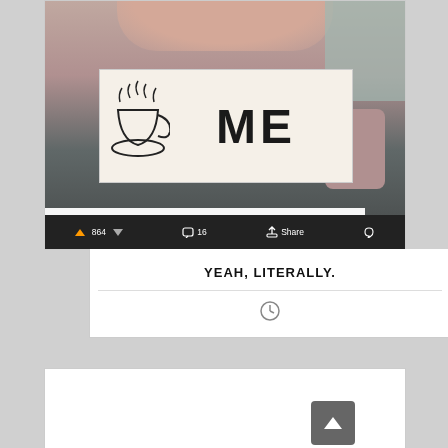[Figure (photo): Person holding a hand-drawn sign that reads '[drawing of a teacup] ME' with steam lines drawn above the cup. The sign is hand-lettered on white paper.]
[-] colordrops  4834 points
They said "be there, or be square" and this dude didn't show up.
864  16  Share
YEAH, LITERALLY.
[Figure (other): Clock/time icon circle]